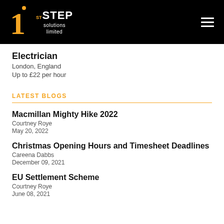[Figure (logo): 1st Step Solutions Limited logo with orange numeral 1, white text '1ST STEP solutions limited' on black background header bar]
Electrician
London, England
Up to £22 per hour
LATEST BLOGS
Macmillan Mighty Hike 2022
Courtney Roye
May 20, 2022
Christmas Opening Hours and Timesheet Deadlines
Careena Dabbs
December 09, 2021
EU Settlement Scheme
Courtney Roye
June 08, 2021